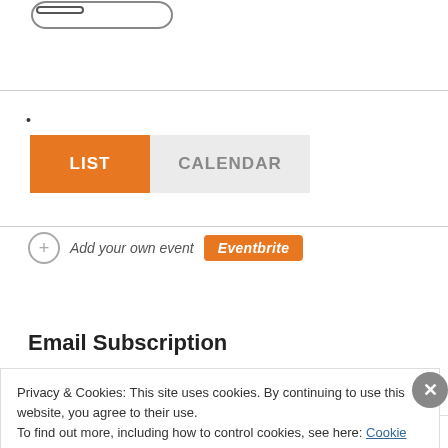[Figure (other): Rounded rectangle button outline at top left of page]
•
[Figure (other): LIST and CALENDAR tab buttons: LIST is orange/active, CALENDAR is grey]
Add your own event  Eventbrite
Email Subscription
Privacy & Cookies: This site uses cookies. By continuing to use this website, you agree to their use.
To find out more, including how to control cookies, see here: Cookie Policy
Close and accept
Follow ...